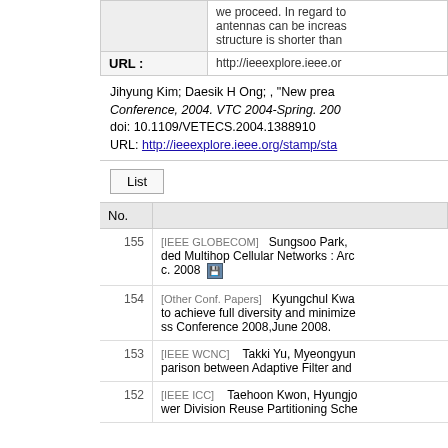|  |  |
| --- | --- |
|  | we proceed. In regard to antennas can be increas structure is shorter than |
| URL : | http://ieeexplore.ieee.or |
Jihyung Kim; Daesik H Ong; , "New prea Conference, 2004. VTC 2004-Spring. 200 doi: 10.1109/VETECS.2004.1388910 URL: http://ieeexplore.ieee.org/stamp/sta
List
| No. |  |
| --- | --- |
| 155 | [IEEE GLOBECOM]   Sungsoo Park, ded Multihop Cellular Networks : Arc c. 2008 |
| 154 | [Other Conf. Papers]   Kyungchul Kwa to achieve full diversity and minimize ss Conference 2008,June 2008. |
| 153 | [IEEE WCNC]   Takki Yu, Myeongyun parison between Adaptive Filter and |
| 152 | [IEEE ICC]   Taehoon Kwon, Hyungjo wer Division Reuse Partitioning Sche |